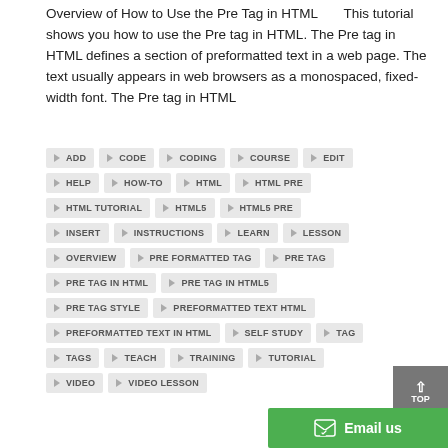Overview of How to Use the Pre Tag in HTML   This tutorial shows you how to use the Pre tag in HTML. The Pre tag in HTML defines a section of preformatted text in a web page. The text usually appears in web browsers as a monospaced, fixed-width font. The Pre tag in HTML
ADD
CODE
CODING
COURSE
EDIT
HELP
HOW-TO
HTML
HTML PRE
HTML TUTORIAL
HTML5
HTML5 PRE
INSERT
INSTRUCTIONS
LEARN
LESSON
OVERVIEW
PRE FORMATTED TAG
PRE TAG
PRE TAG IN HTML
PRE TAG IN HTML5
PRE TAG STYLE
PREFORMATTED TEXT HTML
PREFORMATTED TEXT IN HTML
SELF STUDY
TAG
TAGS
TEACH
TRAINING
TUTORIAL
VIDEO
VIDEO LESSON